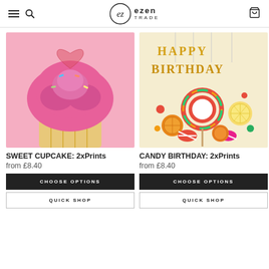ezen TRADE — navigation header with hamburger, search, logo, and cart
[Figure (photo): Close-up photo of a pink frosted cupcake with a heart-shaped clear topper on a pink background]
SWEET CUPCAKE: 2xPrints
from £8.40
CHOOSE OPTIONS
QUICK SHOP
[Figure (photo): Happy Birthday banner with colorful candies, lollipops, and sweets on a cream background]
CANDY BIRTHDAY: 2xPrints
from £8.40
CHOOSE OPTIONS
QUICK SHOP